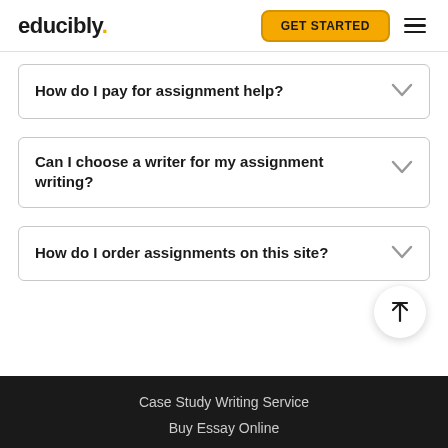educibly. | GET STARTED
How do I pay for assignment help?
Can I choose a writer for my assignment writing?
How do I order assignments on this site?
Case Study Writing Service
Buy Essay Online